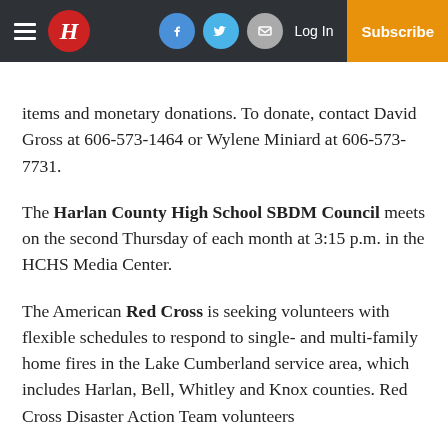H | Facebook | Twitter | Email | Log In | Subscribe
items and monetary donations. To donate, contact David Gross at 606-573-1464 or Wylene Miniard at 606-573-7731.
The Harlan County High School SBDM Council meets on the second Thursday of each month at 3:15 p.m. in the HCHS Media Center.
The American Red Cross is seeking volunteers with flexible schedules to respond to single- and multi-family home fires in the Lake Cumberland service area, which includes Harlan, Bell, Whitley and Knox counties. Red Cross Disaster Action Team volunteers